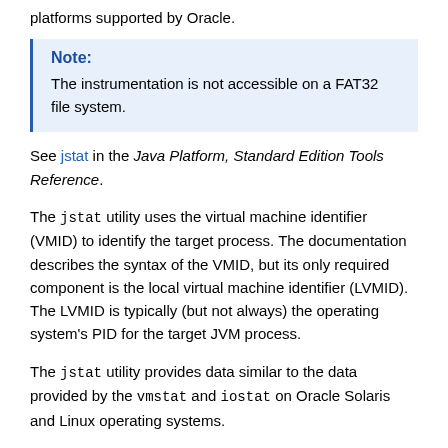platforms supported by Oracle.
Note: The instrumentation is not accessible on a FAT32 file system.
See jstat in the Java Platform, Standard Edition Tools Reference.
The jstat utility uses the virtual machine identifier (VMID) to identify the target process. The documentation describes the syntax of the VMID, but its only required component is the local virtual machine identifier (LVMID). The LVMID is typically (but not always) the operating system's PID for the target JVM process.
The jstat utility provides data similar to the data provided by the vmstat and iostat on Oracle Solaris and Linux operating systems.
For a graphical representation of the data, you can use the